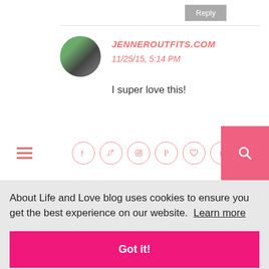Reply
JENNEROUTFITS.COM
11/25/15, 5:14 PM
I super love this!
[Figure (screenshot): Navigation bar with hamburger menu, social media icons (Facebook, Twitter, Instagram, Pinterest, Heart, Tumblr), and pink search button]
About Life and Love blog uses cookies to ensure you get the best experience on our website.  Learn more
Got it!
11/25/15, 7:36 PM